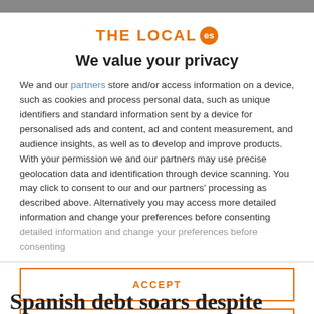THE LOCAL es
We value your privacy
We and our partners store and/or access information on a device, such as cookies and process personal data, such as unique identifiers and standard information sent by a device for personalised ads and content, ad and content measurement, and audience insights, as well as to develop and improve products. With your permission we and our partners may use precise geolocation data and identification through device scanning. You may click to consent to our and our partners' processing as described above. Alternatively you may access more detailed information and change your preferences before consenting
ACCEPT
MORE OPTIONS
Spanish debt soars despite